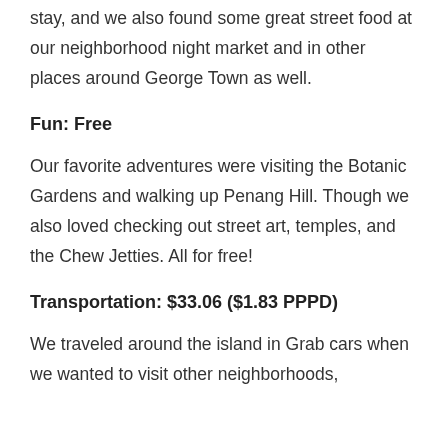stay, and we also found some great street food at our neighborhood night market and in other places around George Town as well.
Fun: Free
Our favorite adventures were visiting the Botanic Gardens and walking up Penang Hill. Though we also loved checking out street art, temples, and the Chew Jetties. All for free!
Transportation: $33.06 ($1.83 PPPD)
We traveled around the island in Grab cars when we wanted to visit other neighborhoods,